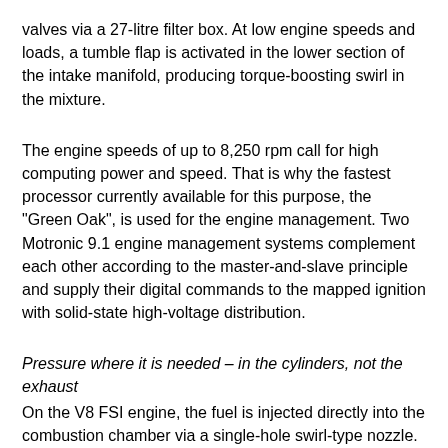valves via a 27-litre filter box. At low engine speeds and loads, a tumble flap is activated in the lower section of the intake manifold, producing torque-boosting swirl in the mixture.
The engine speeds of up to 8,250 rpm call for high computing power and speed. That is why the fastest processor currently available for this purpose, the "Green Oak", is used for the engine management. Two Motronic 9.1 engine management systems complement each other according to the master-and-slave principle and supply their digital commands to the mapped ignition with solid-state high-voltage distribution.
Pressure where it is needed – in the cylinders, not the exhaust
On the V8 FSI engine, the fuel is injected directly into the combustion chamber via a single-hole swirl-type nozzle. This supports the very good full-load performance, cools